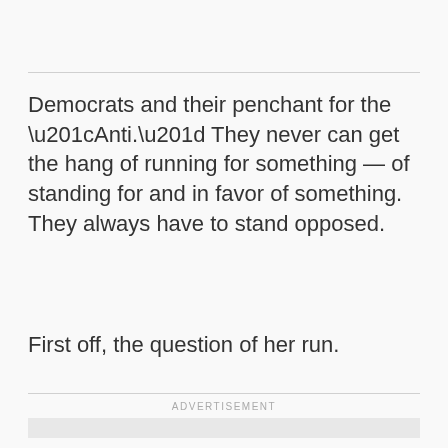Democrats and their penchant for the “Anti.” They never can get the hang of running for something — of standing for and in favor of something. They always have to stand opposed.
First off, the question of her run.
ADVERTISEMENT